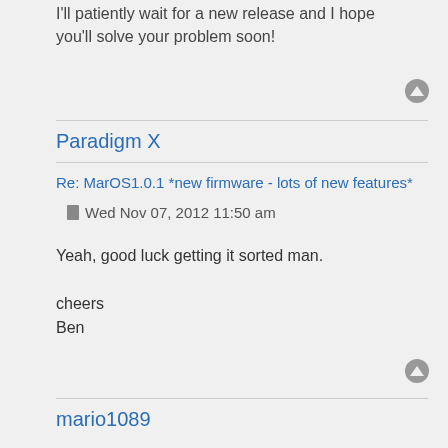I'll patiently wait for a new release and I hope you'll solve your problem soon!
Paradigm X
Re: MarOS1.0.1 *new firmware - lots of new features*
 Wed Nov 07, 2012 11:50 am
Yeah, good luck getting it sorted man.

cheers
Ben
mario1089
Re: MarOS1.2(!!!) new firmware - MORE new features
 Sat Nov 10, 2012 1:38 pm
DONE.